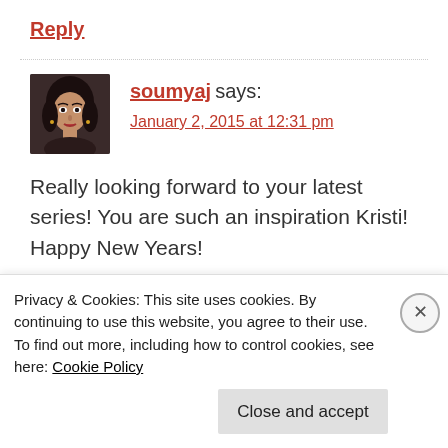Reply
[Figure (photo): Avatar photo of commenter soumyaj — a woman with dark hair]
soumyaj says:
January 2, 2015 at 12:31 pm
Really looking forward to your latest series! You are such an inspiration Kristi! Happy New Years!
Liked by 2 people
Privacy & Cookies: This site uses cookies. By continuing to use this website, you agree to their use.
To find out more, including how to control cookies, see here: Cookie Policy
Close and accept